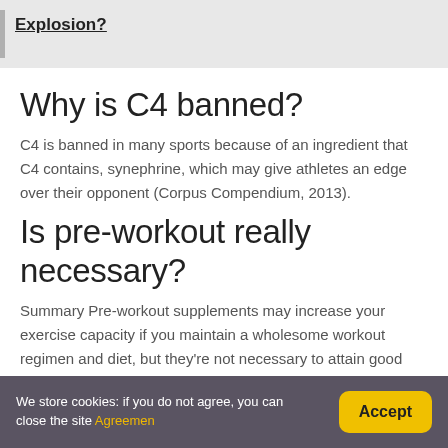Explosion?
Why is C4 banned?
C4 is banned in many sports because of an ingredient that C4 contains, synephrine, which may give athletes an edge over their opponent (Corpus Compendium, 2013).
Is pre-workout really necessary?
Summary Pre-workout supplements may increase your exercise capacity if you maintain a wholesome workout regimen and diet, but they're not necessary to attain good results.
We store cookies: if you do not agree, you can close the site Agreemen  Accept